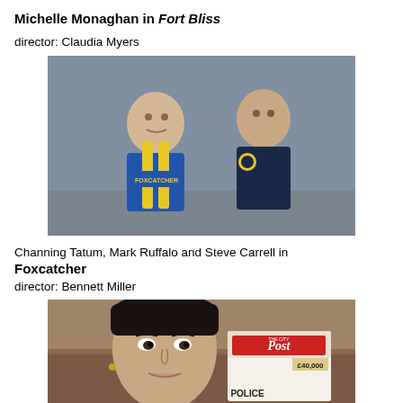Michelle Monaghan in Fort Bliss
director: Claudia Myers
[Figure (photo): Two men facing each other closely in a gymnasium setting. Left man wears a blue and yellow wrestling singlet over a blue shirt with 'Foxcatcher' text. Right man wears a dark navy tracksuit with a yellow logo patch.]
Channing Tatum, Mark Ruffalo and Steve Carrell in Foxcatcher
Foxcatcher
director: Bennett Miller
[Figure (photo): Young dark-haired man in foreground looking at camera, with a red and white 'Post' newspaper visible in background showing '£40,000' and partial text 'POLICE']